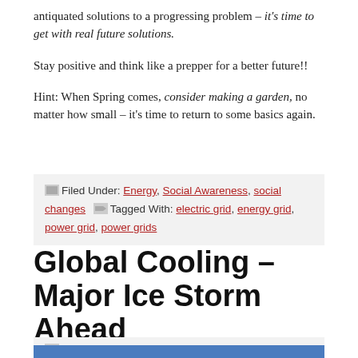antiquated solutions to a progressing problem – it's time to get with real future solutions.
Stay positive and think like a prepper for a better future!!
Hint: When Spring comes, consider making a garden, no matter how small – it's time to return to some basics again.
Filed Under: Energy, Social Awareness, social changes Tagged With: electric grid, energy grid, power grid, power grids
Global Cooling – Major Ice Storm Ahead
February 7, 2021 by Janet